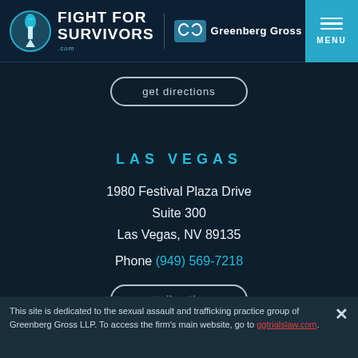[Figure (logo): Fight For Survivors logo with torch icon and Greenberg Gross LLP brand mark in header]
get directions
LAS VEGAS
1980 Festival Plaza Drive
Suite 300
Las Vegas, NV 89135
Phone (949) 569-7218
get directions
This site is dedicated to the sexual assault and trafficking practice group of Greenberg Gross LLP. To access the firm's main website, go to ggtrialslaw.com.